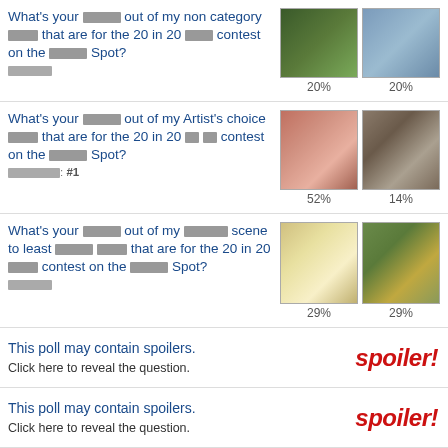What's your ████ out of my non category ████ that are for the 20 in 20 ████ contest on the █████ Spot? █████ — 20% | 20%
What's your █████ out of my Artist's choice ████ that are for the 20 in 20 ██ ██ contest on the █████ Spot? ███████: #1 — 52% | 14%
What's your █████ out of my ██████ scene to least ██████ ████ that are for the 20 in 20 ████ contest on the █████ Spot? ██████ — 29% | 29%
This poll may contain spoilers. Click here to reveal the question.
This poll may contain spoilers. Click here to reveal the question.